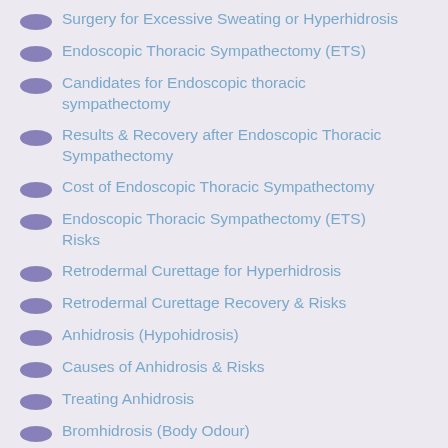Surgery for Excessive Sweating or Hyperhidrosis
Endoscopic Thoracic Sympathectomy (ETS)
Candidates for Endoscopic thoracic sympathectomy
Results & Recovery after Endoscopic Thoracic Sympathectomy
Cost of Endoscopic Thoracic Sympathectomy
Endoscopic Thoracic Sympathectomy (ETS) Risks
Retrodermal Curettage for Hyperhidrosis
Retrodermal Curettage Recovery & Risks
Anhidrosis (Hypohidrosis)
Causes of Anhidrosis & Risks
Treating Anhidrosis
Bromhidrosis (Body Odour)